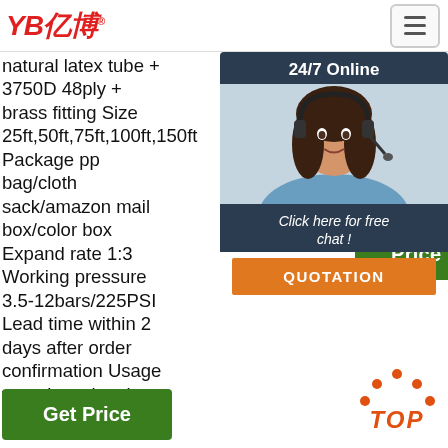YB亿博 logo and navigation hamburger
natural latex tube + 3750D 48ply + brass fitting Size 25ft,50ft,75ft,100ft,150ft Package pp bag/cloth sack/amazon mail box/color box Expand rate 1:3 Working pressure 3.5-12bars/225PSI Lead time within 2 days after order confirmation Usage watering, cleaning, washing ...
garden hose gallon and more on Alibaba.com garden hose gallon
Watering Needs. 4.4 450 98. app Sav cou
[Figure (screenshot): Green Get Price button in middle column]
[Figure (infographic): 24/7 Online chat widget with photo of woman headset agent, Click here for free chat!, QUOTATION orange button]
[Figure (other): Green Get Price button in right partial area]
[Figure (logo): TOP button with orange dots above and orange italic text]
[Figure (other): Get Price green button at bottom left]